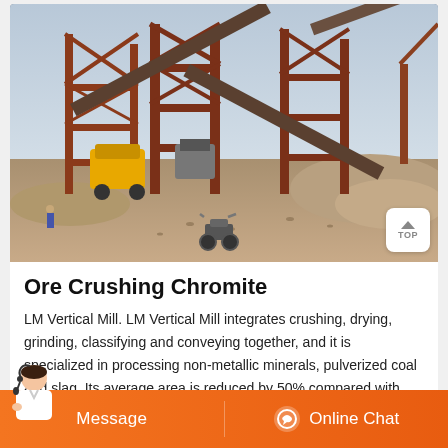[Figure (photo): Industrial ore crushing facility with large red steel framework structures, conveyor belts crossing in an X-pattern, heavy machinery including yellow equipment, piles of crushed stone/gravel, and a motorcycle in the foreground. Overcast sky in background.]
Ore Crushing Chromite
LM Vertical Mill. LM Vertical Mill integrates crushing, drying, grinding, classifying and conveying together, and it is specialized in processing non-metallic minerals, pulverized coal and slag. Its average area is reduced by 50% compared with ball mill, and the